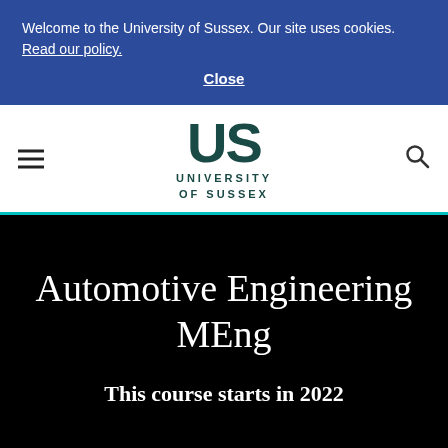Welcome to the University of Sussex. Our site uses cookies. Read our policy.
Close
[Figure (logo): University of Sussex logo: stylized 'US' monogram in dark teal above text 'UNIVERSITY OF SUSSEX']
Automotive Engineering MEng
This course starts in 2022